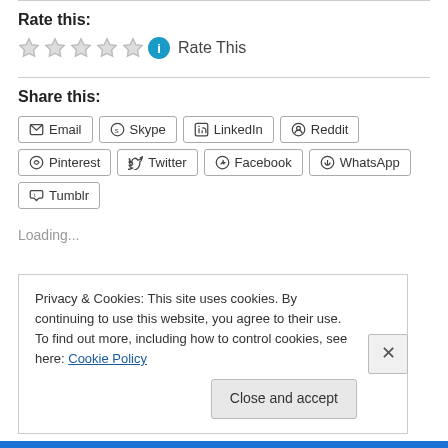Rate this:
[Figure (other): Five empty star rating icons followed by a blue info circle and 'Rate This' text]
Share this:
[Figure (other): Social share buttons: Email, Skype, LinkedIn, Reddit, Pinterest, Twitter, Facebook, WhatsApp, Tumblr]
Loading...
Privacy & Cookies: This site uses cookies. By continuing to use this website, you agree to their use. To find out more, including how to control cookies, see here: Cookie Policy
Close and accept